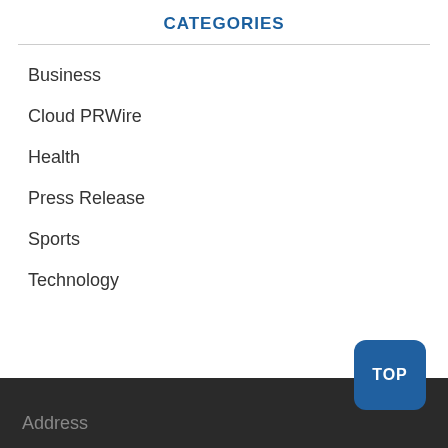CATEGORIES
Business
Cloud PRWire
Health
Press Release
Sports
Technology
Address